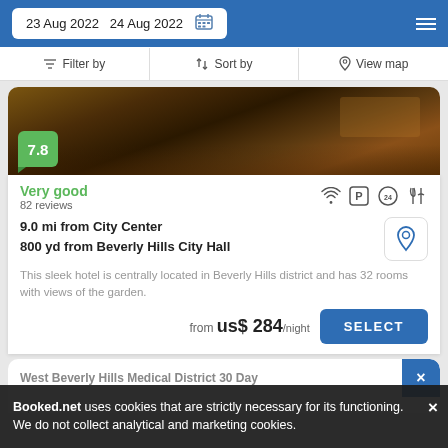23 Aug 2022   24 Aug 2022
Filter by   Sort by   View map
[Figure (photo): Hotel interior photo showing lobby with dark wood flooring and bar area]
Very good
82 reviews
9.0 mi from City Center
800 yd from Beverly Hills City Hall
This sleek hotel is centrally located in Beverly Hills district and has 32 rooms with views of the garden.
from us$ 284/night
SELECT
West Beverly Hills Medical District 30 Day
Apartment
Booked.net uses cookies that are strictly necessary for its functioning. We do not collect analytical and marketing cookies.